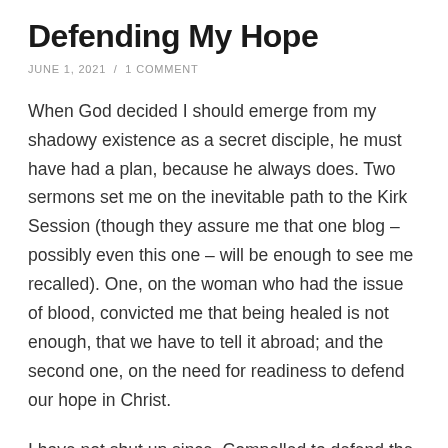Defending My Hope
JUNE 1, 2021 / 1 COMMENT
When God decided I should emerge from my shadowy existence as a secret disciple, he must have had a plan, because he always does. Two sermons set me on the inevitable path to the Kirk Session (though they assure me that one blog – possibly even this one – will be enough to see me recalled). One, on the woman who had the issue of blood, convicted me that being healed is not enough, that we have to tell it abroad; and the second one, on the need for readiness to defend our hope in Christ.
I have not shut up since. Compelled to defend the cause, or to share my hope, I have landed in all manner of trouble. At least part of the reason for that has been my